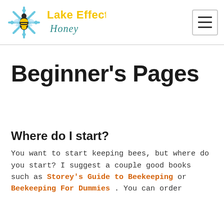Lake Effect Honey [logo + navigation hamburger]
Beginner's Pages
Where do I start?
You want to start keeping bees, but where do you start? I suggest a couple good books such as Storey's Guide to Beekeeping or Beekeeping For Dummies . You can order